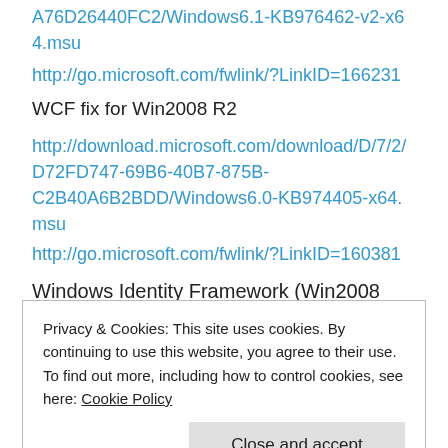A76D26440FC2/Windows6.1-KB976462-v2-x64.msu
http://go.microsoft.com/fwlink/?LinkID=166231
WCF fix for Win2008 R2
http://download.microsoft.com/download/D/7/2/D72FD747-69B6-40B7-875B-C2B40A6B2BDD/Windows6.0-KB974405-x64.msu
http://go.microsoft.com/fwlink/?LinkID=160381
Windows Identity Framework (Win2008 SP2)
Privacy & Cookies: This site uses cookies. By continuing to use this website, you agree to their use.
To find out more, including how to control cookies, see here: Cookie Policy
Close and accept
35522a0d-9743-4b8c-a5b3-